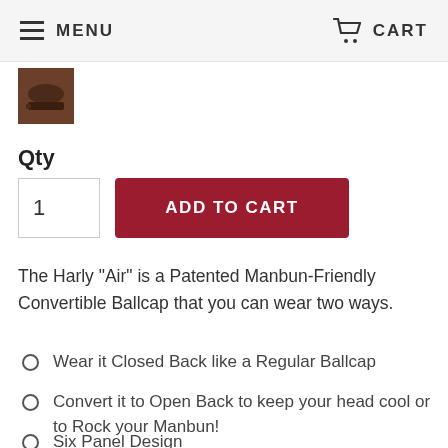MENU   CART
[Figure (photo): Small thumbnail image of a dark-colored baseball cap]
Qty
1
ADD TO CART
The Harly "Air" is a Patented Manbun-Friendly Convertible Ballcap that you can wear two ways.
Wear it Closed Back like a Regular Ballcap
Convert it to Open Back to keep your head cool or to Rock your Manbun!
Six Panel Design
Velcro Closure for Adjustable Fit